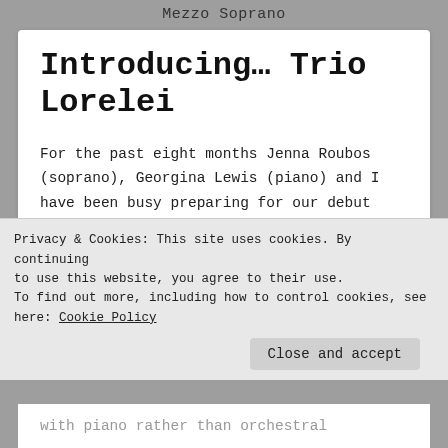Mezzo Soprano
Introducing… Trio Lorelei
For the past eight months Jenna Roubos (soprano), Georgina Lewis (piano) and I have been busy preparing for our debut recital series at the Barn Gallery at Montsalvat in Eltham. If you’ve never been, Montsalvat is one of the most exquisite spaces in Melbourne, and I’m
Privacy & Cookies: This site uses cookies. By continuing to use this website, you agree to their use.
To find out more, including how to control cookies, see here: Cookie Policy
Close and accept
with piano rather than orchestral